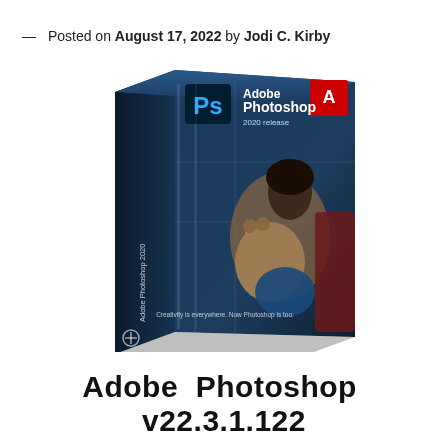— Posted on August 17, 2022 by Jodi C. Kirby
[Figure (photo): Adobe Photoshop 2020 release product box showing a child holding a teddy bear near a window, with the Ps logo and Adobe logo on the cover. Text reads 'Creativity is everywhere. Now Photoshop is too.']
Adobe Photoshop v22.3.1.122